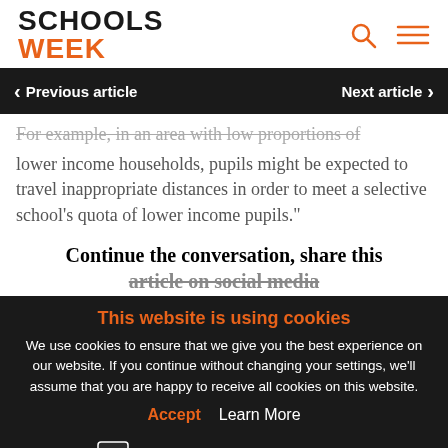SCHOOLS WEEK
< Previous article   Next article >
For example, in an area with low proportions of lower income households, pupils might be expected to travel inappropriate distances in order to meet a selective school's quota of lower income pupils."
Continue the conversation, share this article on social media
This website is using cookies
We use cookies to ensure that we give you the best experience on our website. If you continue without changing your settings, we'll assume that you are happy to receive all cookies on this website.
Accept   Learn More
Join the conversation below